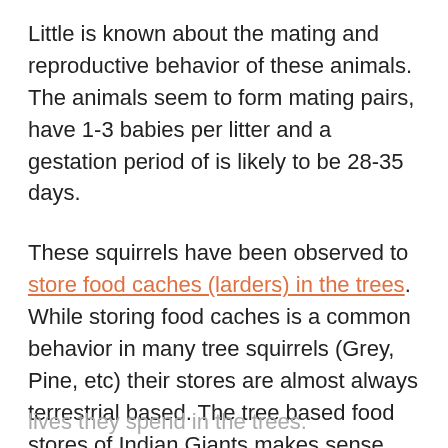Little is known about the mating and reproductive behavior of these animals. The animals seem to form mating pairs, have 1-3 babies per litter and a gestation period of is likely to be 28-35 days.
These squirrels have been observed to store food caches (larders) in the trees. While storing food caches is a common behavior in many tree squirrels (Grey, Pine, etc) their stores are almost always terrestrial based. The tree based food stores of Indian Giants makes sense considering how much of their lives they spend in the trees.